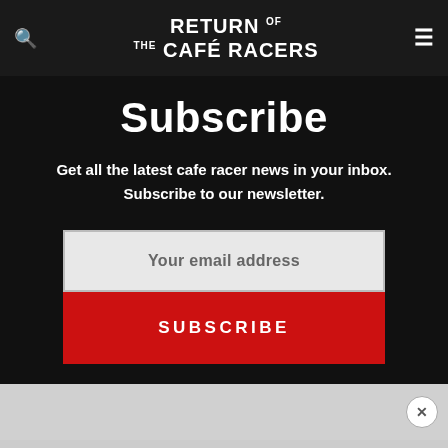RETURN OF THE CAFÉ RACERS
Subscribe
Get all the latest cafe racer news in your inbox. Subscribe to our newsletter.
Your email address
SUBSCRIBE